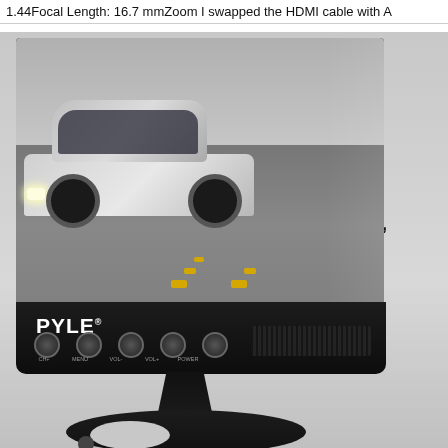1.44Focal Length: 16.7 mmZoom I swapped the HDMI cable with A
[Figure (photo): Photo of a Pyle brand monitor/TV with a car image on screen. The monitor has a black bezel with PYLE logo and control buttons. Below the screen is a speaker grille. The monitor is mounted on a round black stand/base. To the right of the monitor, partially cropped text reads 'Built-in', 'Co', 'MP3, MP4,' on a light gray background.]